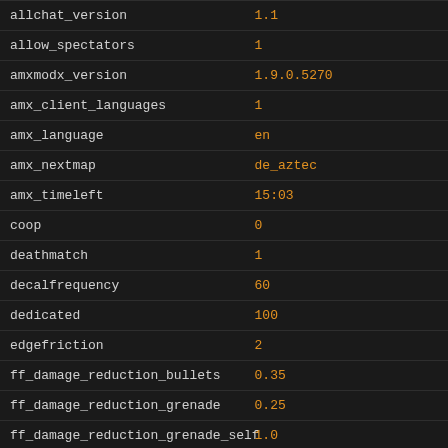| key | value |
| --- | --- |
| allchat_version | 1.1 |
| allow_spectators | 1 |
| amxmodx_version | 1.9.0.5270 |
| amx_client_languages | 1 |
| amx_language | en |
| amx_nextmap | de_aztec |
| amx_timeleft | 15:03 |
| coop | 0 |
| deathmatch | 1 |
| decalfrequency | 60 |
| dedicated | 100 |
| edgefriction | 2 |
| ff_damage_reduction_bullets | 0.35 |
| ff_damage_reduction_grenade | 0.25 |
| ff_damage_reduction_grenade_self | 1.0 |
| ff_damage_reduction_other | 0.35 |
| game_description | [MineHost.com.ar] |
| game_directory | cstrike |
| game_version | 5.20.0.516-dev |